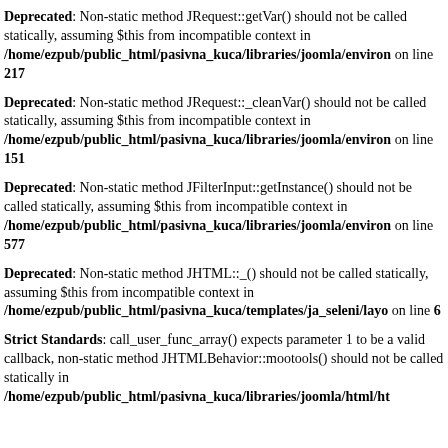Deprecated: Non-static method JRequest::getVar() should not be called statically, assuming $this from incompatible context in /home/ezpub/public_html/pasivna_kuca/libraries/joomla/environ on line 217
Deprecated: Non-static method JRequest::_cleanVar() should not be called statically, assuming $this from incompatible context in /home/ezpub/public_html/pasivna_kuca/libraries/joomla/environ on line 151
Deprecated: Non-static method JFilterInput::getInstance() should not be called statically, assuming $this from incompatible context in /home/ezpub/public_html/pasivna_kuca/libraries/joomla/environ on line 577
Deprecated: Non-static method JHTML::_() should not be called statically, assuming $this from incompatible context in /home/ezpub/public_html/pasivna_kuca/templates/ja_seleni/layo on line 6
Strict Standards: call_user_func_array() expects parameter 1 to be a valid callback, non-static method JHTMLBehavior::mootools() should not be called statically in /home/ezpub/public_html/pasivna_kuca/libraries/joomla/html/ht